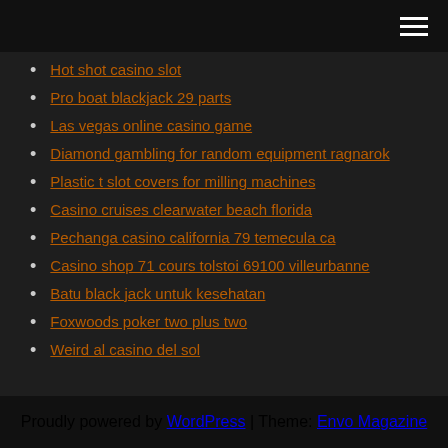Hot shot casino slot
Pro boat blackjack 29 parts
Las vegas online casino game
Diamond gambling for random equipment ragnarok
Plastic t slot covers for milling machines
Casino cruises clearwater beach florida
Pechanga casino california 79 temecula ca
Casino shop 71 cours tolstoi 69100 villeurbanne
Batu black jack untuk kesehatan
Foxwoods poker two plus two
Weird al casino del sol
Proudly powered by WordPress | Theme: Envo Magazine